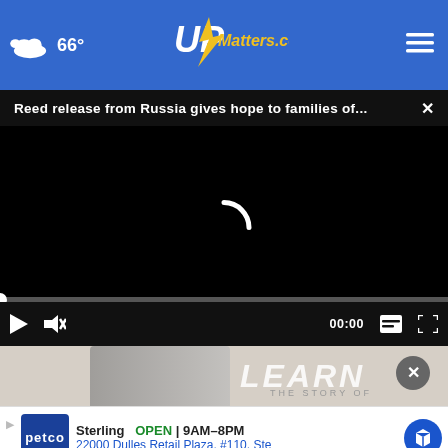66° UPMatters.com
Reed release from Russia gives hope to families of...
[Figure (screenshot): Video player showing loading spinner on black background with playback controls: play button, mute button, timestamp 00:00, subtitle icon, fullscreen icon. Progress bar at bottom with white dot indicator at start.]
[Figure (photo): Bottom portion of a page showing partial text 'LEARN' and 'THE STORY OF' with what appears to be a person in dark clothing, and an X close button overlay.]
Sterling  OPEN | 9AM–8PM
22000 Dulles Retail Plaza, #110, Ste